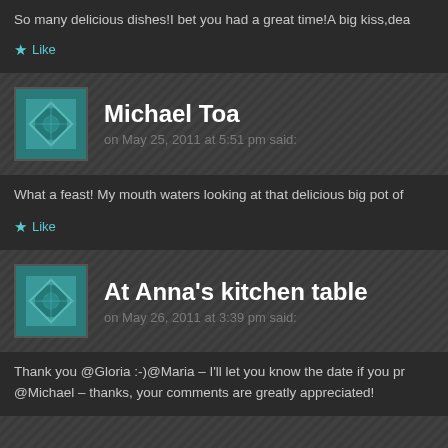So many delicious dishes!I bet you had a great time!A big kiss,dea
Like
Michael Toa
on May 25, 2011 at 5:51 pm said:
What a feast! My mouth waters looking at that delicious big pot of
Like
At Anna's kitchen table
on May 26, 2011 at 3:39 pm said:
Thank you @Gloria :-)@Maria – I'll let you know the date if you pr
@Michael – thanks, your comments are greatly appreciated!